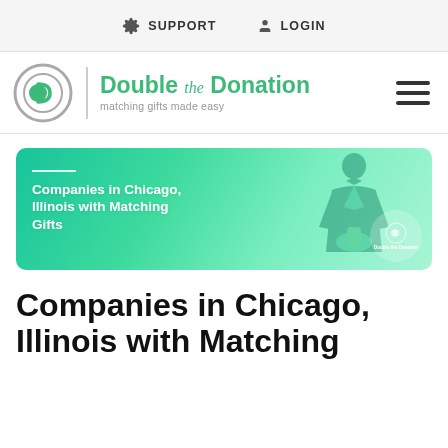SUPPORT  LOGIN
[Figure (logo): Double the Donation logo — circular icon with stylized letter D in green and gray, vertical divider, green text 'Double the Donation' with italic 'the', tagline 'matching gifts made easy' in gray]
[Figure (illustration): Banner image with teal/green gradient background, white decorative line, bold white text 'Companies in Chicago, Illinois with Matching Gifts', silhouette of person in tuxedo holding trophy on right side, Double the Donation logo badge in bottom right]
Companies in Chicago, Illinois with Matching